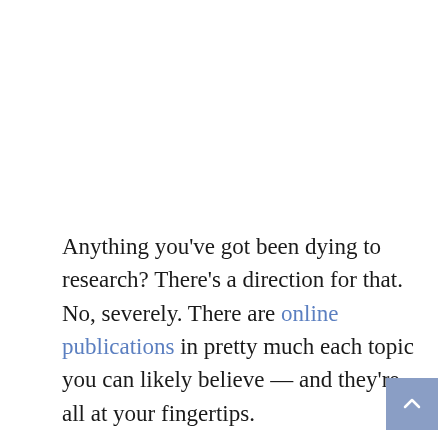Anything you've got been dying to research? There's a direction for that. No, severely. There are online publications in pretty much each topic you can likely believe — and they're all at your fingertips.